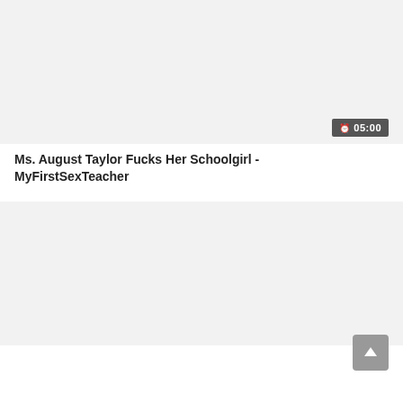[Figure (screenshot): Video thumbnail placeholder - light gray background for first video card]
05:00
Ms. August Taylor Fucks Her Schoolgirl - MyFirstSexTeacher
[Figure (screenshot): Video thumbnail placeholder - light gray background for second video card]
15:10